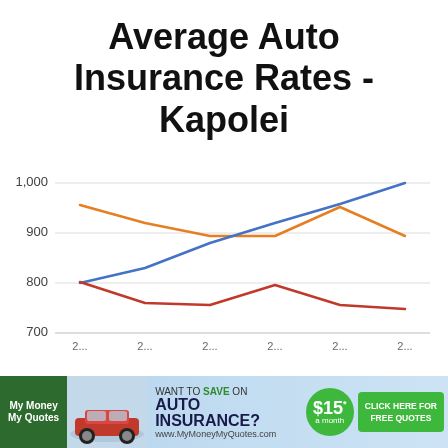Average Auto Insurance Rates - Kapolei
[Figure (line-chart): Average Auto Insurance Rates - Kapolei]
[Figure (infographic): Advertisement banner for MyMoneyMyQuotes auto insurance with car image, save $15/month offer, and free quotes CTA]